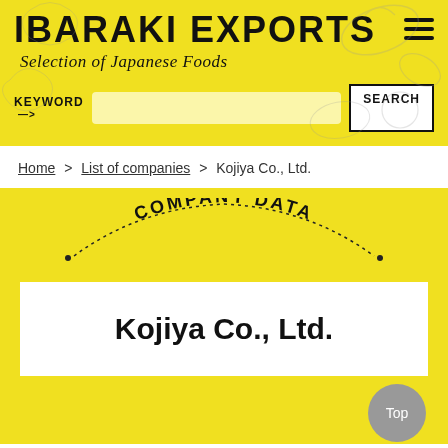IBARAKI EXPORTS — Selection of Japanese Foods
KEYWORD — SEARCH
Home > List of companies > Kojiya Co., Ltd.
[Figure (illustration): Decorative arc text reading COMPANY DATA with dotted arc lines on either side, on yellow background]
Kojiya Co., Ltd.